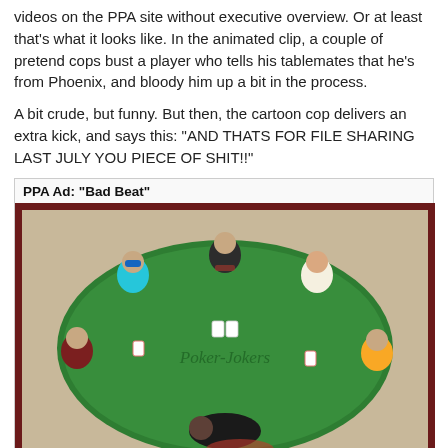videos on the PPA site without executive overview. Or at least that's what it looks like. In the animated clip, a couple of pretend cops bust a player who tells his tablemates that he's from Phoenix, and bloody him up a bit in the process.

A bit crude, but funny. But then, the cartoon cop delivers an extra kick, and says this: "AND THATS FOR FILE SHARING LAST JULY YOU PIECE OF SHIT!!"
PPA Ad: "Bad Beat"
[Figure (illustration): Animated/cartoon screenshot showing a top-down view of a poker table with several cartoon players seated around it. A player in dark clothes is bent over on the floor near the bottom of the table, apparently being dealt with by cop characters. The table is green with 'Poker-Jokers' text. A subtitle at the bottom reads 'Cop: THAT'LL TEACH YOU FOR LOSING YOUR OWN MONEY ON']